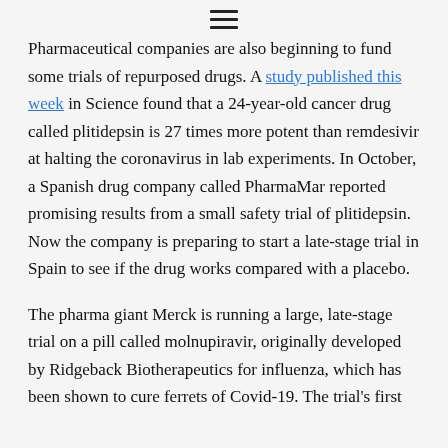≡
Pharmaceutical companies are also beginning to fund some trials of repurposed drugs. A study published this week in Science found that a 24-year-old cancer drug called plitidepsin is 27 times more potent than remdesivir at halting the coronavirus in lab experiments. In October, a Spanish drug company called PharmaMar reported promising results from a small safety trial of plitidepsin. Now the company is preparing to start a late-stage trial in Spain to see if the drug works compared with a placebo.
The pharma giant Merck is running a large, late-stage trial on a pill called molnupiravir, originally developed by Ridgeback Biotherapeutics for influenza, which has been shown to cure ferrets of Covid-19. The trial's first